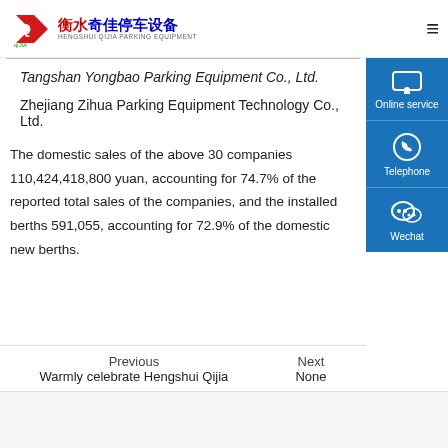衡水奇佳停车设备 HENGSHUI QIJIA PARKING EQUIPMENT
Tangshan Yongbao Parking Equipment Co., Ltd.
Zhejiang Zihua Parking Equipment Technology Co., Ltd.
The domestic sales of the above 30 companies 110,424,418,800 yuan, accounting for 74.7% of the reported total sales of the companies, and the installed berths 591,055, accounting for 72.9% of the domestic new berths.
Previous
Warmly celebrate Hengshui Qijia
Next
None